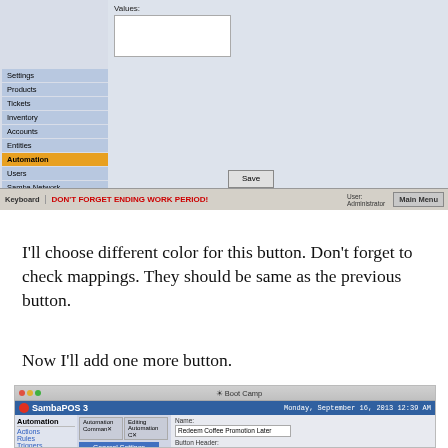[Figure (screenshot): SambaPOS 3 application settings screenshot showing left navigation menu with Settings, Products, Tickets, Inventory, Accounts, Entities, Automation (highlighted orange), Users, Samba Network items. Right panel shows Values label and input box. Save button visible. Status bar at bottom shows 'DON'T FORGET ENDING WORK PERIOD!' warning in red, Keyboard label, User: Administrator, Main Menu button.]
I'll choose different color for this button. Don't forget to check mappings. They should be same as the previous button.
Now I'll add one more button.
[Figure (screenshot): SambaPOS 3 application on Monday, September 16, 2013 12:39 AM. Shows Automation section with Actions, Rules, Triggers in left nav. Tabs: Automation Commands, Editing Automation C. General Settings and Mappings buttons visible. Fields: Name: Redeem Coffee Promotion Later, Button Header: Redeem Later (partially visible).]